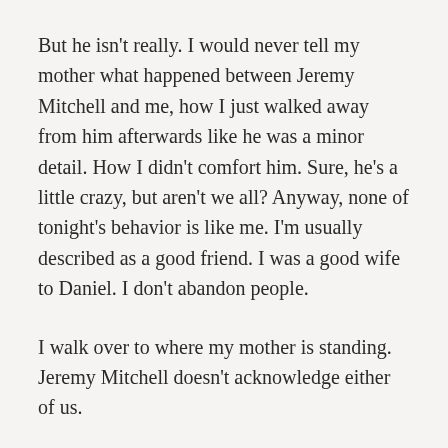But he isn't really. I would never tell my mother what happened between Jeremy Mitchell and me, how I just walked away from him afterwards like he was a minor detail. How I didn't comfort him. Sure, he's a little crazy, but aren't we all? Anyway, none of tonight's behavior is like me. I'm usually described as a good friend. I was a good wife to Daniel. I don't abandon people.
I walk over to where my mother is standing. Jeremy Mitchell doesn't acknowledge either of us.